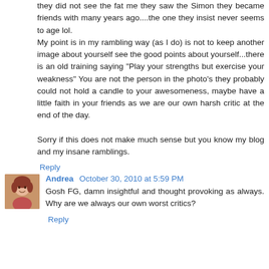they did not see the fat me they saw the Simon they became friends with many years ago....the one they insist never seems to age lol.
My point is in my rambling way (as I do) is not to keep another image about yourself see the good points about yourself...there is an old training saying "Play your strengths but exercise your weakness" You are not the person in the photo's they probably could not hold a candle to your awesomeness, maybe have a little faith in your friends as we are our own harsh critic at the end of the day.

Sorry if this does not make much sense but you know my blog and my insane ramblings.
Reply
[Figure (photo): Small avatar photo of a person with reddish-brown hair]
Andrea  October 30, 2010 at 5:59 PM
Gosh FG, damn insightful and thought provoking as always. Why are we always our own worst critics?
Reply